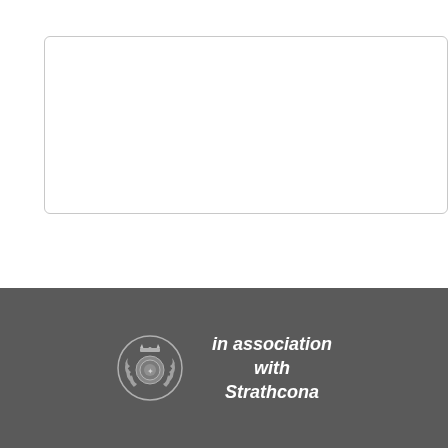[Figure (other): Empty text input box with rounded border]
SUBMIT
in association with Strathcona